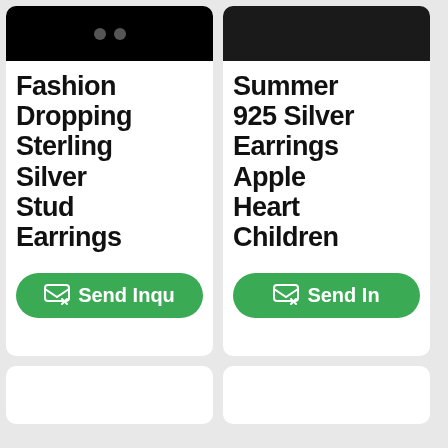Fashion Dropping Sterling Silver Stud Earrings
Send Inqu
Summer 925 Silver Earrings Apple Heart Children
Send In